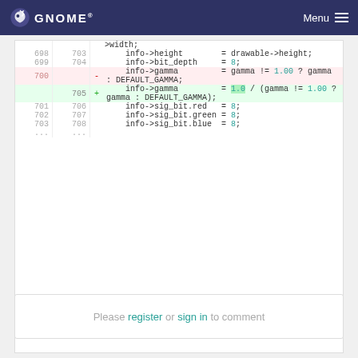GNOME  Menu
[Figure (screenshot): Code diff view showing changes to info->gamma assignment in C code. Lines 698-703 (old) / 703-708 (new) show unchanged context. Line 700 (old) is deleted: info->gamma = gamma != 1.00 ? gamma : DEFAULT_GAMMA; Line 705 (new) is added: info->gamma = 1.0 / (gamma != 1.00 ? gamma : DEFAULT_GAMMA);]
Please register or sign in to comment